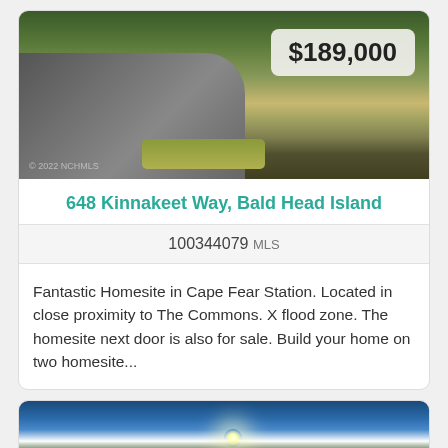[Figure (photo): Aerial/street view photo of a road and grassy area on Bald Head Island with $189,000 price badge overlay and © 2022 NCHMLS watermark]
648 Kinnakeet Way, Bald Head Island
100344079 MLS
Fantastic Homesite in Cape Fear Station. Located in close proximity to The Commons. X flood zone. The homesite next door is also for sale. Build your home on two homesite...
[Figure (photo): Photo looking up through trees toward bright sunlight and blue sky]